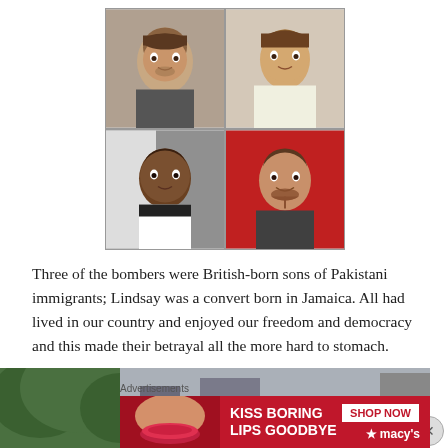[Figure (photo): Grid of four portrait photos of individuals]
Three of the bombers were British-born sons of Pakistani immigrants; Lindsay was a convert born in Jamaica. All had lived in our country and enjoyed our freedom and democracy and this made their betrayal all the more hard to stomach.
[Figure (photo): Aerial street scene photo showing emergency responders with yellow vests on a road with vehicles]
Advertisements
[Figure (infographic): Macy's advertisement: KISS BORING LIPS GOODBYE with SHOP NOW button and Macy's logo]